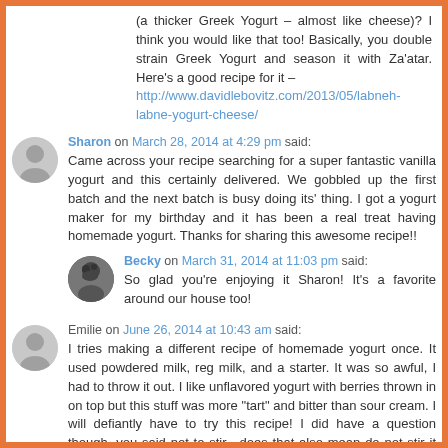(a thicker Greek Yogurt – almost like cheese)? I think you would like that too! Basically, you double strain Greek Yogurt and season it with Za'atar. Here's a good recipe for it – http://www.davidlebovitz.com/2013/05/labneh-labne-yogurt-cheese/
Sharon on March 28, 2014 at 4:29 pm said:
Came across your recipe searching for a super fantastic vanilla yogurt and this certainly delivered. We gobbled up the first batch and the next batch is busy doing its' thing. I got a yogurt maker for my birthday and it has been a real treat having homemade yogurt. Thanks for sharing this awesome recipe!!
Becky on March 31, 2014 at 11:03 pm said:
So glad you're enjoying it Sharon! It's a favorite around our house too!
Emilie on June 26, 2014 at 10:43 am said:
I tries making a different recipe of homemade yogurt once. It used powdered milk, reg milk, and a starter. It was so awful, I had to throw it out. I like unflavored yogurt with berries thrown in on top but this stuff was more "tart" and bitter than sour cream. I will defiantly have to try this recipe! I did have a question though, you said not to stir…does that also mean do not stir it even right before eating?